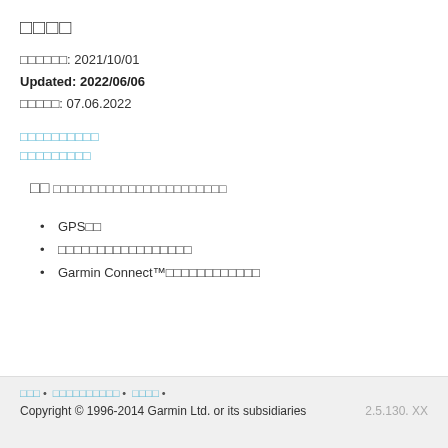□□□□
□□□□□□: 2021/10/01
Updated: 2022/06/06
□□□□□: 07.06.2022
□□□□□□□□□□
□□□□□□□□□
□□
□□□□□□□□□□□□□□□□□□□□□□□
GPS□□
□□□□□□□□□□□□□□□□□
Garmin Connect™□□□□□□□□□□□□
□□□ • □□□□□□□□□□ • □□□□ •
Copyright © 1996-2014 Garmin Ltd. or its subsidiaries  2.5.130. XX